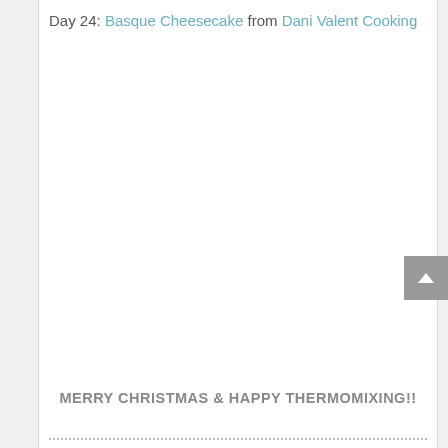Day 24: Basque Cheesecake from Dani Valent Cooking
[Figure (photo): Large empty white space representing a food photo area (photo not loaded)]
MERRY CHRISTMAS & HAPPY THERMOMIXING!!